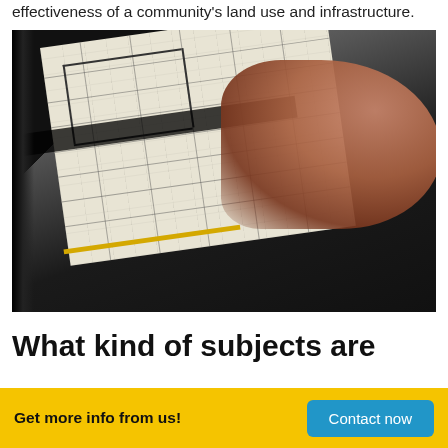effectiveness of a community's land use and infrastructure.
[Figure (photo): Hands pointing at architectural blueprint/floor plan drawings on a light table, viewed from above at an angle, with dark surroundings and a yellow accent strip.]
What kind of subjects are
Get more info from us!
Contact now